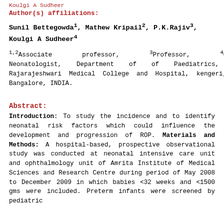Koulgi A Sudheer
Author(s) affiliations:
Sunil Bettegowda1, Mathew Kripail2, P.K.Rajiv3, Koulgi A Sudheer4
1,2Associate professor, 3Professor, 4Consultant Neonatologist, Department of of Paediatrics, Rajarajeshwari Medical College and Hospital, kengeri, Bangalore, INDIA.
Abstract:
Introduction: To study the incidence and to identify neonatal risk factors which could influence the development and progression of ROP. Materials and Methods: A hospital-based, prospective observational study was conducted at neonatal intensive care unit and ophthalmology unit of Amrita Institute of Medical Sciences and Research Centre during period of May 2008 to December 2009 in which babies <32 weeks and <1500 gms were included. Preterm infants were screened by pediatric